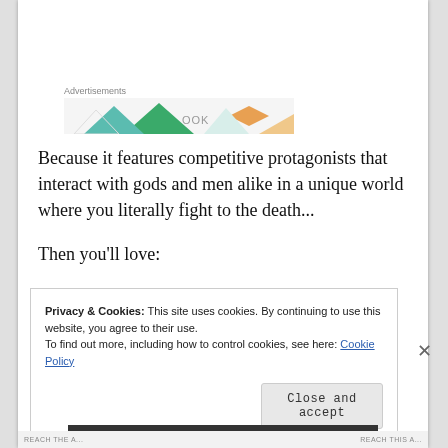[Figure (illustration): Advertisements banner with colorful geometric triangle and diamond pattern in green, teal, orange, white colors with text 'OOK']
Because it features competitive protagonists that interact with gods and men alike in a unique world where you literally fight to the death...
Then you'll love:
Privacy & Cookies: This site uses cookies. By continuing to use this website, you agree to their use.
To find out more, including how to control cookies, see here: Cookie Policy
Close and accept